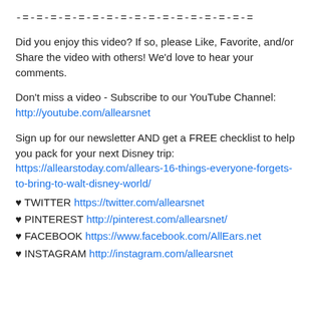-=-=-=-=-=-=-=-=-=-=-=-=-=-=-=-=-=
Did you enjoy this video? If so, please Like, Favorite, and/or Share the video with others! We’d love to hear your comments.
Don’t miss a video - Subscribe to our YouTube Channel: http://youtube.com/allearsnet
Sign up for our newsletter AND get a FREE checklist to help you pack for your next Disney trip: https://allearstoday.com/allears-16-things-everyone-forgets-to-bring-to-walt-disney-world/
♥ TWITTER https://twitter.com/allearsnet
♥ PINTEREST http://pinterest.com/allearsnet/
♥ FACEBOOK https://www.facebook.com/AllEars.net
♥ INSTAGRAM http://instagram.com/allearsnet